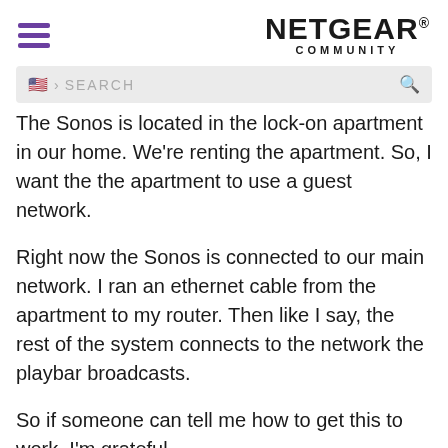NETGEAR COMMUNITY
[Figure (screenshot): Search bar with US flag icon and magnifying glass icon on grey background]
The Sonos is located in the lock-on apartment in our home. We're renting the apartment. So, I want the the apartment to use a guest network.
Right now the Sonos is connected to our main network. I ran an ethernet cable from the apartment to my router. Then like I say, the rest of the system connects to the network the playbar broadcasts.
So if someone can tell me how to get this to work, I'm grateful.
But after all day yesterday, I'm super frustrated. I was